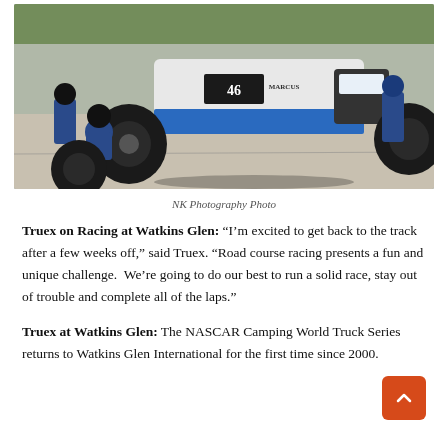[Figure (photo): NASCAR Camping World Truck Series pit stop scene — crew members changing tires on a white and blue #46 race truck on pit road]
NK Photography Photo
Truex on Racing at Watkins Glen: “I’m excited to get back to the track after a few weeks off,” said Truex. “Road course racing presents a fun and unique challenge.  We’re going to do our best to run a solid race, stay out of trouble and complete all of the laps.”
Truex at Watkins Glen: The NASCAR Camping World Truck Series returns to Watkins Glen International for the first time since 2000.